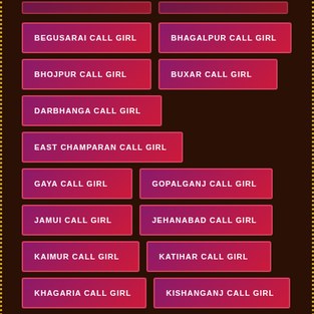BEGUSARAI CALL GIRL
BHAGALPUR CALL GIRL
BHOJPUR CALL GIRL
BUXAR CALL GIRL
DARBHANGA CALL GIRL
EAST CHAMPARAN CALL GIRL
GAYA CALL GIRL
GOPALGANJ CALL GIRL
JAMUI CALL GIRL
JEHANABAD CALL GIRL
KAIMUR CALL GIRL
KATIHAR CALL GIRL
KHAGARIA CALL GIRL
KISHANGANJ CALL GIRL
LAKHISARAI CALL GIRL
MADHUBANI CALL GIRL